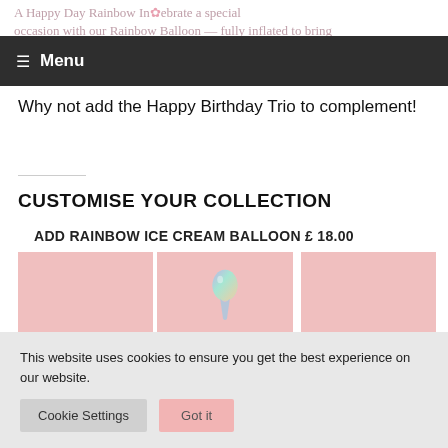A Happy Day Rainbow In... ebrate a special occasion with our Rainbow Balloon — fully inflated to bring
Menu
Why not add the Happy Birthday Trio to complement!
CUSTOMISE YOUR COLLECTION
ADD RAINBOW ICE CREAM BALLOON £ 18.00
[Figure (photo): Three pink panels with a rainbow ice cream balloon in the center panel]
This website uses cookies to ensure you get the best experience on our website.